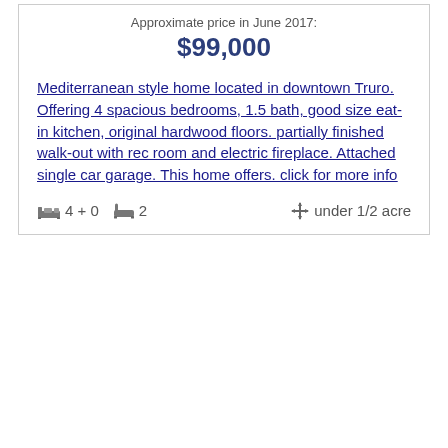Approximate price in June 2017:
$99,000
Mediterranean style home located in downtown Truro. Offering 4 spacious bedrooms, 1.5 bath, good size eat-in kitchen, original hardwood floors. partially finished walk-out with rec room and electric fireplace. Attached single car garage. This home offers. click for more info
4 + 0  2  under 1/2 acre